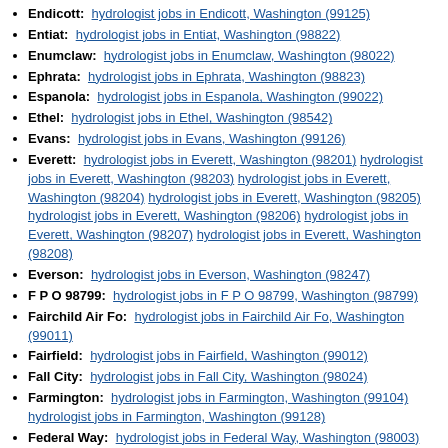Endicott: hydrologist jobs in Endicott, Washington (99125)
Entiat: hydrologist jobs in Entiat, Washington (98822)
Enumclaw: hydrologist jobs in Enumclaw, Washington (98022)
Ephrata: hydrologist jobs in Ephrata, Washington (98823)
Espanola: hydrologist jobs in Espanola, Washington (99022)
Ethel: hydrologist jobs in Ethel, Washington (98542)
Evans: hydrologist jobs in Evans, Washington (99126)
Everett: hydrologist jobs in Everett, Washington (98201) hydrologist jobs in Everett, Washington (98203) hydrologist jobs in Everett, Washington (98204) hydrologist jobs in Everett, Washington (98205) hydrologist jobs in Everett, Washington (98206) hydrologist jobs in Everett, Washington (98207) hydrologist jobs in Everett, Washington (98208)
Everson: hydrologist jobs in Everson, Washington (98247)
F P O 98799: hydrologist jobs in F P O 98799, Washington (98799)
Fairchild Air Fo: hydrologist jobs in Fairchild Air Fo, Washington (99011)
Fairfield: hydrologist jobs in Fairfield, Washington (99012)
Fall City: hydrologist jobs in Fall City, Washington (98024)
Farmington: hydrologist jobs in Farmington, Washington (99104) hydrologist jobs in Farmington, Washington (99128)
Federal Way: hydrologist jobs in Federal Way, Washington (98003) hydrologist jobs in Federal Way, Washington (98023)
Felida: hydrologist jobs in Felida, Washington (98685)
Ferndale: hydrologist jobs in Ferndale, Washington (98248)
Fife: hydrologist jobs in Fife, Washington (98424)
Fircrest: hydrologist jobs in Fircrest, Washington (98466)